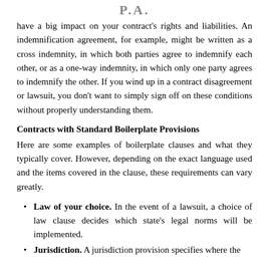P.A.
have a big impact on your contract's rights and liabilities. An indemnification agreement, for example, might be written as a cross indemnity, in which both parties agree to indemnify each other, or as a one-way indemnity, in which only one party agrees to indemnify the other. If you wind up in a contract disagreement or lawsuit, you don't want to simply sign off on these conditions without properly understanding them.
Contracts with Standard Boilerplate Provisions
Here are some examples of boilerplate clauses and what they typically cover. However, depending on the exact language used and the items covered in the clause, these requirements can vary greatly.
Law of your choice. In the event of a lawsuit, a choice of law clause decides which state's legal norms will be implemented.
Jurisdiction. A jurisdiction provision specifies where the